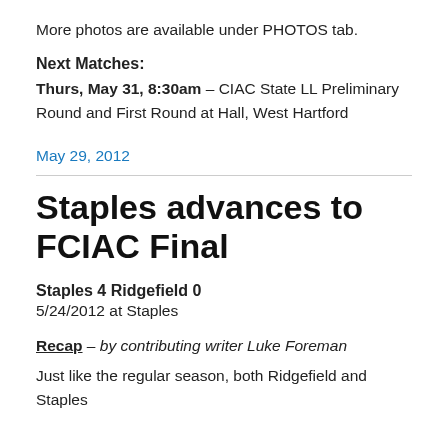More photos are available under PHOTOS tab.
Next Matches:
Thurs, May 31, 8:30am – CIAC State LL Preliminary Round and First Round at Hall, West Hartford
May 29, 2012
Staples advances to FCIAC Final
Staples 4 Ridgefield 0
5/24/2012 at Staples
Recap – by contributing writer Luke Foreman
Just like the regular season, both Ridgefield and Staples